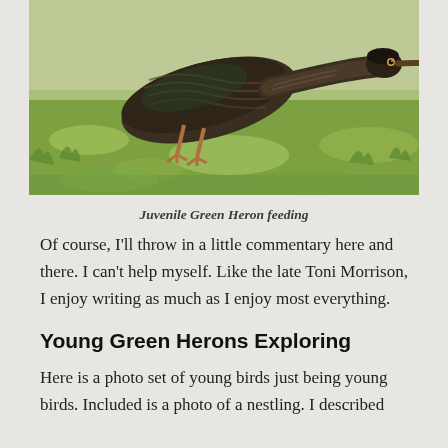[Figure (photo): A juvenile Green Heron photographed in a low, hunting stance on green grass, with its long orange-tipped beak extended forward. The bird has dark brown and greenish plumage with streaked feathers.]
Juvenile Green Heron feeding
Of course, I'll throw in a little commentary here and there. I can't help myself. Like the late Toni Morrison, I enjoy writing as much as I enjoy most everything.
Young Green Herons Exploring
Here is a photo set of young birds just being young birds. Included is a photo of a nestling. I described